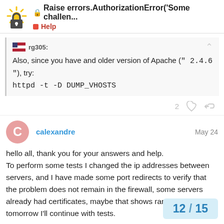Raise errors.AuthorizationError('Some challen...  Help
rg305:
Also, since you have and older version of Apache (" 2.4.6 "), try:
httpd -t -D DUMP_VHOSTS
calexandre  May 24
hello all, thank you for your answers and help.
To perform some tests I changed the ip addresses between servers, and I have made some port redirects to verify that the problem does not remain in the firewall, some servers already had certificates, maybe that shows rare behaviors, tomorrow I'll continue with tests.

Thank you again
12 / 15